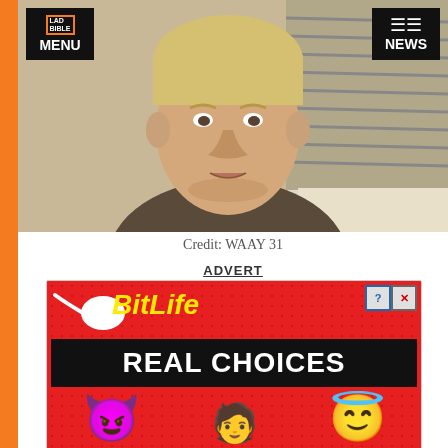[Figure (screenshot): Video still of a young man with blonde hair speaking, with a wall and window blinds in the background. LAD Bible menu button in top left, NEWS button in top right.]
Credit: WAAY 31
ADVERT
[Figure (screenshot): BitLife app advertisement on red dotted background with sperm icon, BitLife logo in yellow italic text, 'REAL CHOICES' in white bold text on black bar, devil emoji and angel emoji at the bottom.]